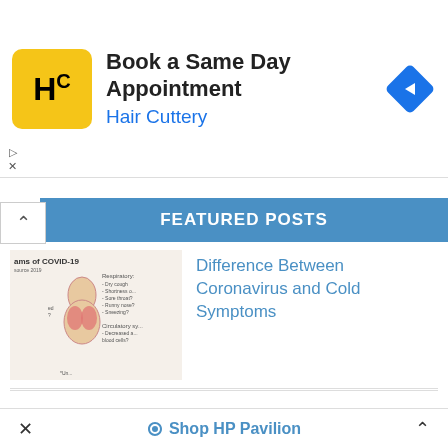[Figure (screenshot): Hair Cuttery advertisement banner: yellow square logo with HC letters, text 'Book a Same Day Appointment' and 'Hair Cuttery' in blue, blue diamond navigation arrow icon on right]
FEATURED POSTS
[Figure (illustration): COVID-19 symptoms diagram showing human body with respiratory and circulatory symptoms listed]
Difference Between Coronavirus and Cold Symptoms
[Figure (photo): Electron microscope black and white image of coronavirus particles]
Difference Between Coronavirus and SARS
[Figure (photo): Colorful illustration of coronavirus particles with pink spike proteins]
Difference Between Coronavirus and Influenza
× Shop HP Pavilion ^